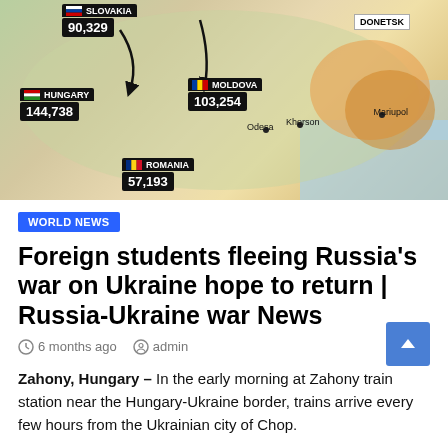[Figure (map): Map of Ukraine and neighboring countries showing refugee numbers: Slovakia 90,329; Hungary 144,738; Moldova 103,254; Romania 57,193. Map shows Donetsk region, cities Odesa, Kherson, Mariupol.]
WORLD NEWS
Foreign students fleeing Russia's war on Ukraine hope to return | Russia-Ukraine war News
6 months ago   admin
Zahony, Hungary – In the early morning at Zahony train station near the Hungary-Ukraine border, trains arrive every few hours from the Ukrainian city of Chop.
Among those disembarking from the dark blue trains, which pull into the Hungarian border town every few